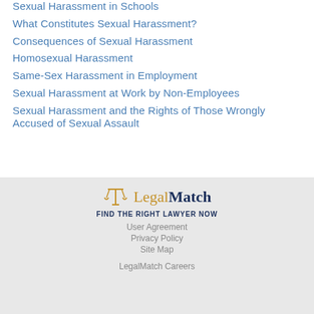Sexual Harassment in Schools
What Constitutes Sexual Harassment?
Consequences of Sexual Harassment
Homosexual Harassment
Same-Sex Harassment in Employment
Sexual Harassment at Work by Non-Employees
Sexual Harassment and the Rights of Those Wrongly Accused of Sexual Assault
LegalMatch — FIND THE RIGHT LAWYER NOW — User Agreement — Privacy Policy — Site Map — LegalMatch Careers